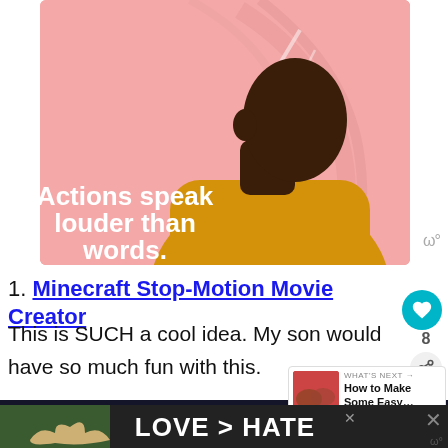[Figure (illustration): Illustration of a person in a yellow turtleneck sweater seen from behind/side, with a pink background. Text on the image reads 'Actions speak louder than words.']
1. Minecraft Stop-Motion Movie Creator
This is SUCH a cool idea. My son would have so much fun with this.
[Figure (screenshot): What's Next panel showing 'How to Make Some Easy...' with thumbnail]
[Figure (photo): Minecraft Stop-Motion Movie Creator box art at bottom]
[Figure (photo): Ad banner: LOVE > HATE with hands forming heart shape]